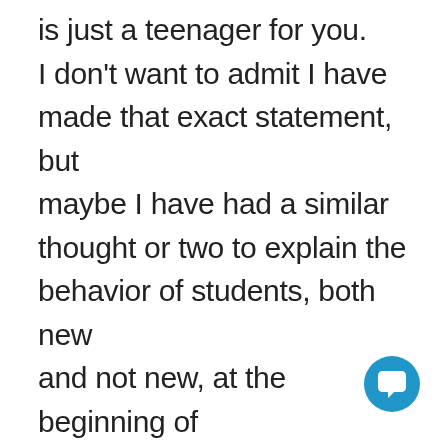is just a teenager for you. I don't want to admit I have made that exact statement, but maybe I have had a similar thought or two to explain the behavior of students, both new and not new, at the beginning of the year.
Well, as you are about to hear today, the behavior we are
[Figure (illustration): A round blue chat/messaging icon with a white speech bubble in the bottom-right corner of the page]